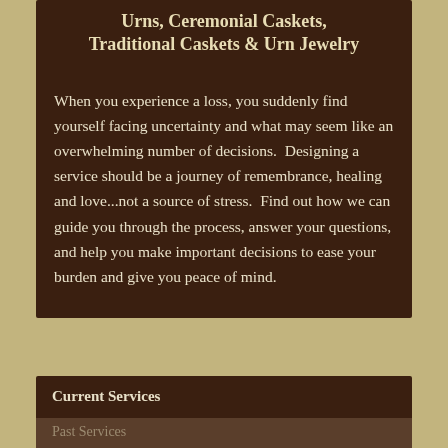Urns, Ceremonial Caskets, Traditional Caskets & Urn Jewelry
When you experience a loss, you suddenly find yourself facing uncertainty and what may seem like an overwhelming number of decisions.  Designing a service should be a journey of remembrance, healing and love...not a source of stress.  Find out how we can guide you through the process, answer your questions, and help you make important decisions to ease your burden and give you peace of mind.
Current Services
Past Services